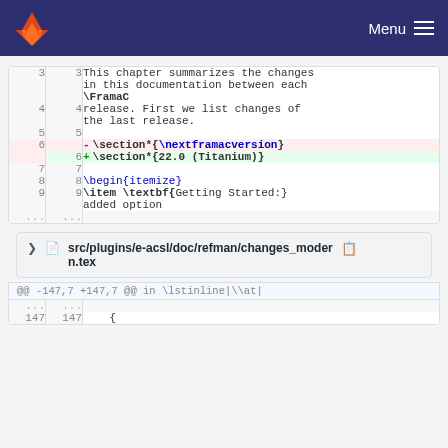GitLab — Menu
3  3  This chapter summarizes the changes in this documentation between each \FramaC
4  4  release. First we list changes of the last release.
5  5  (empty)
6  (deleted) \section*{\nextframacversion}
   6  (added) \section*{22.0 (Titanium)}
7  7  (empty)
8  8  \begin{itemize}
9  9  \item \textbf{Getting Started:} added option
...  ...
src/plugins/e-acsl/doc/refman/changes_modern.tex
@@ -147,7 +147,7 @@ in \lstinline|\\at|
147  147      {